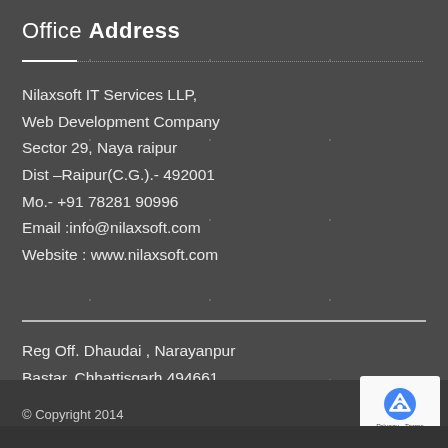Office Address
Nilaxsoft IT Services LLP,
Web Development Company
Sector 29, Naya raipur
Dist –Raipur(C.G.).- 492001
Mo.- +91 78281 90996
Email :info@nilaxsoft.com
Website : www.nilaxsoft.com
Reg Off. Dhaudai , Narayanpur
Bastar, Chhattisgarh 494661
© Copyright 2014